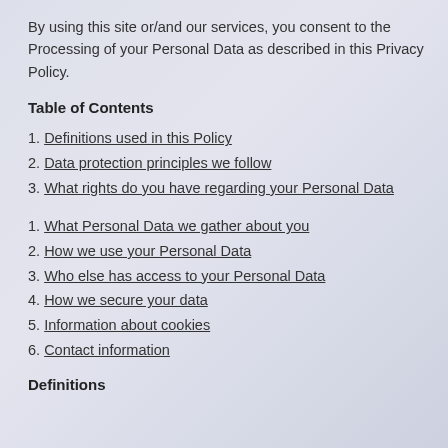By using this site or/and our services, you consent to the Processing of your Personal Data as described in this Privacy Policy.
Table of Contents
1. Definitions used in this Policy
2. Data protection principles we follow
3. What rights do you have regarding your Personal Data
1. What Personal Data we gather about you
2. How we use your Personal Data
3. Who else has access to your Personal Data
4. How we secure your data
5. Information about cookies
6. Contact information
Definitions